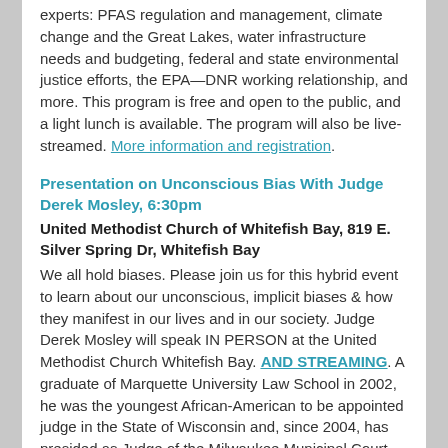experts: PFAS regulation and management, climate change and the Great Lakes, water infrastructure needs and budgeting, federal and state environmental justice efforts, the EPA—DNR working relationship, and more. This program is free and open to the public, and a light lunch is available. The program will also be live-streamed. More information and registration.
Presentation on Unconscious Bias With Judge Derek Mosley, 6:30pm
United Methodist Church of Whitefish Bay, 819 E. Silver Spring Dr, Whitefish Bay
We all hold biases. Please join us for this hybrid event to learn about our unconscious, implicit biases & how they manifest in our lives and in our society. Judge Derek Mosley will speak IN PERSON at the United Methodist Church Whitefish Bay. AND STREAMING. A graduate of Marquette University Law School in 2002, he was the youngest African-American to be appointed judge in the State of Wisconsin and, since 2004, has presided as Judge of the Milwaukee Municipal Court. More info